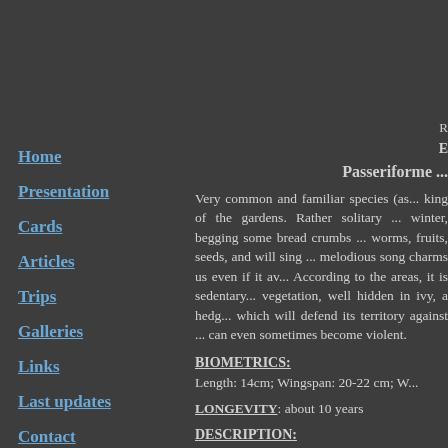Home
Presentation
Cards
Articles
Trips
Galleries
Links
Last updates
Contact
Legal issues
Passeriforme ...
Very common and familiar species (as... king of the gardens. Rather solitary ... winter, begging some bread crumbs ... worms, fruits, seeds, and will sing ... melodious song charms us even if it av... According to the areas, it is sedentary... vegetation, well hidden in ivy, a hedg... which will defend its territory against ... can even sometimes become violent.
BIOMETRICS:
Length: 14cm; Wingspan: 20-22 cm; W...
LONGEVITY
: about 10 years
DESCRIPTION:
The European Robin is a territorial bir...